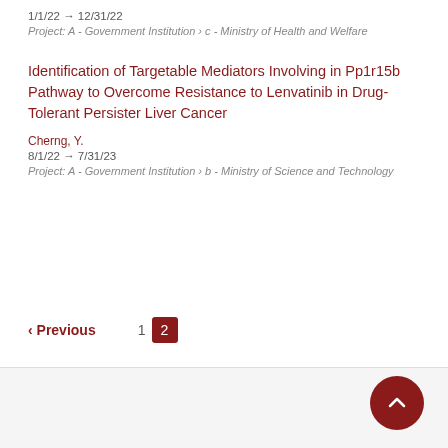1/1/22 → 12/31/22
Project: A - Government Institution › c - Ministry of Health and Welfare
Identification of Targetable Mediators Involving in Pp1r15b Pathway to Overcome Resistance to Lenvatinib in Drug-Tolerant Persister Liver Cancer
Cherng, Y.
8/1/22 → 7/31/23
Project: A - Government Institution › b - Ministry of Science and Technology
‹ Previous  1  2